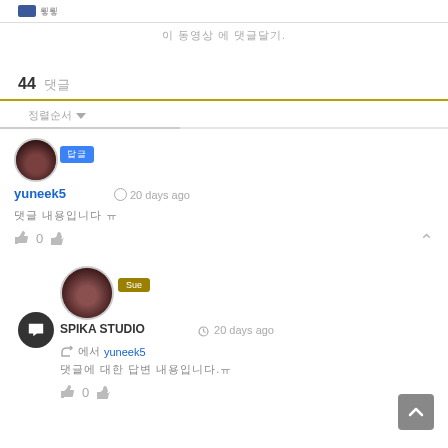이 동영상 에 댓글달기.
44 댓글
정렬순서 ▾
yuneek5 20 days ago
댓글 내용입니다 ㅠ
0
44 SPIKA STUDIO 20 days ago
↩ 에서 yuneek5
댓글에 대한 답변 내용입니다.ㅠ
0